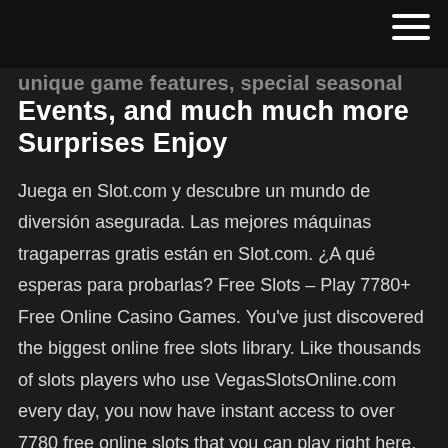[hamburger menu icon]
unique game features, special seasonal Events, and much much more Surprises Enjoy
Juega en Slot.com y descubre un mundo de diversión asegurada. Las mejores máquinas tragaperras gratis están en Slot.com. ¿A qué esperas para probarlas? Free Slots – Play 7780+ Free Online Casino Games. You've just discovered the biggest online free slots library. Like thousands of slots players who use VegasSlotsOnline.com every day, you now have instant access to over 7780 free online slots that you can play right here. ¡Bienvenido a Toroslots.com! Somos la guía de casino más actualizada sobre slots online gratuitos para jugadores hispanos. Si estás buscando máquinas de slots gratuitas o deseas probar nuevos casinos con las últimas juegos de